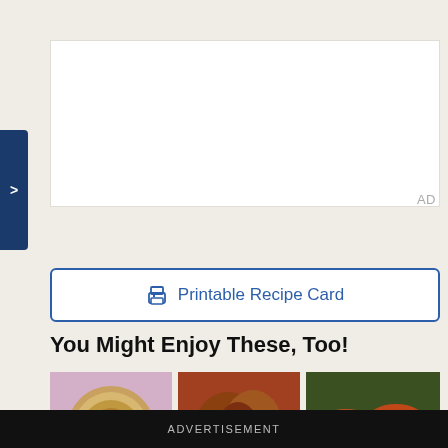[Figure (screenshot): White advertisement box area with 'AD' label in gray at right]
[Figure (other): Printable Recipe Card button with printer icon, blue text on white background with blue border]
You Might Enjoy These, Too!
[Figure (photo): The BEST Chicken Po... - circular chicken pot pie on purple cloth]
[Figure (photo): Oven Fried Ch... - oven fried chicken pieces on red background]
[Figure (photo): Recipe thumbnail showing salmon/fish with vegetables - '11 Recipes that Use Your...' text overlay]
The BEST Chicken Po...
Oven Fried Ch
[Figure (photo): Hand holding white cream/dough]
[Figure (photo): Kimchi or Asian food in bowl with chopsticks]
[Figure (screenshot): Video overlay: pinch tips HOW TO POACH AN EGG with play button, dark background with purple oval, X close button]
ADVERTISEMENT